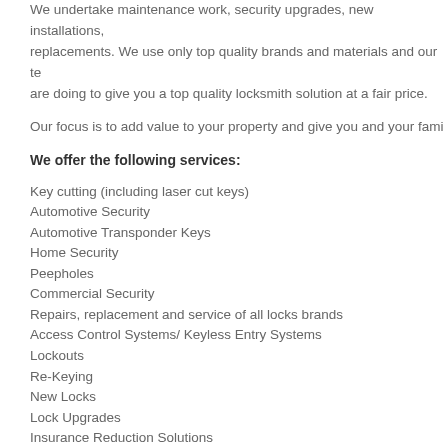We undertake maintenance work, security upgrades, new installations, replacements. We use only top quality brands and materials and our te are doing to give you a top quality locksmith solution at a fair price.
Our focus is to add value to your property and give you and your fami
We offer the following services:
Key cutting (including laser cut keys)
Automotive Security
Automotive Transponder Keys
Home Security
Peepholes
Commercial Security
Repairs, replacement and service of all locks brands
Access Control Systems/ Keyless Entry Systems
Lockouts
Re-Keying
New Locks
Lock Upgrades
Insurance Reduction Solutions